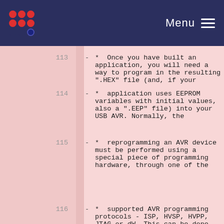Menu
113  -  *  Once you have built an application, you will need a way to program in the resulting ".HEX" file (and, if your
114  -  *  application uses EEPROM variables with initial values, also a ".EEP" file) into your USB AVR. Normally, the
115  -  *  reprogramming an AVR device must be performed using a special piece of programming hardware, through one of the
116  -  *  supported AVR programming protocols - ISP, HVSP, HVPP, JTAG or dW. This can be done through a custom programmer,
117  -  *  a third party programmer, or an official Atmel AVR tool - for more information, see the Atmel.com website.